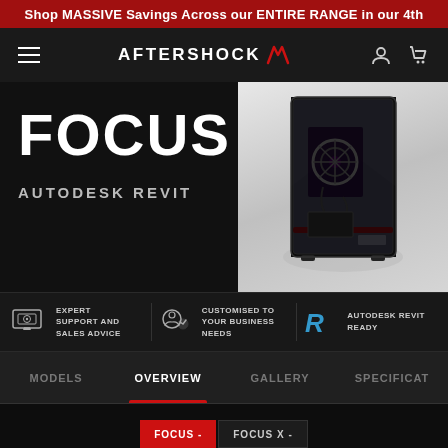Shop MASSIVE Savings Across our ENTIRE RANGE in our 4th
[Figure (screenshot): Aftershock PC website navigation bar with hamburger menu, Aftershock logo, user icon and cart icon on dark background]
FOCUS
AUTODESK REVIT
[Figure (photo): Black gaming PC tower with tempered glass panel showing internal components on grey gradient background]
EXPERT SUPPORT AND SALES ADVICE
CUSTOMISED TO YOUR BUSINESS NEEDS
AUTODESK REVIT READY
MODELS  OVERVIEW  GALLERY  SPECIFICAT
FOCUS -  FOCUS X -